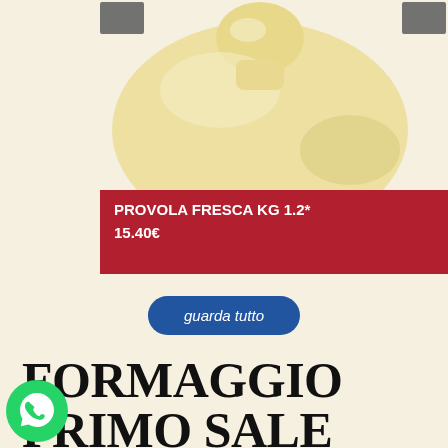[Figure (photo): A provola fresca cheese photographed on a light cream/white background, showing the characteristic round gourd shape of the cheese.]
PROVOLA FRESCA KG 1.2*
15.40€
guarda tutto
FORMAGGIO PRIMO SALE PEPATO KG 3,5*
'ENOGASTRONOMIA D'ECCELLENZA, DALLA SICILIA E OLTRE